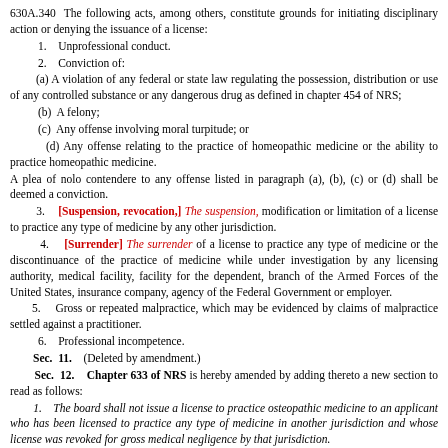630A.340  The following acts, among others, constitute grounds for initiating disciplinary action or denying the issuance of a license:
1.   Unprofessional conduct.
2.   Conviction of:
(a) A violation of any federal or state law regulating the possession, distribution or use of any controlled substance or any dangerous drug as defined in chapter 454 of NRS;
(b)  A felony;
(c)  Any offense involving moral turpitude; or
(d)  Any offense relating to the practice of homeopathic medicine or the ability to practice homeopathic medicine.
A plea of nolo contendere to any offense listed in paragraph (a), (b), (c) or (d) shall be deemed a conviction.
3.   [Suspension, revocation,] The suspension, modification or limitation of a license to practice any type of medicine by any other jurisdiction.
4.   [Surrender] The surrender of a license to practice any type of medicine or the discontinuance of the practice of medicine while under investigation by any licensing authority, medical facility, facility for the dependent, branch of the Armed Forces of the United States, insurance company, agency of the Federal Government or employer.
5.   Gross or repeated malpractice, which may be evidenced by claims of malpractice settled against a practitioner.
6.   Professional incompetence.
Sec. 11.   (Deleted by amendment.)
Sec. 12.   Chapter 633 of NRS is hereby amended by adding thereto a new section to read as follows:
1.   The board shall not issue a license to practice osteopathic medicine to an applicant who has been licensed to practice any type of medicine in another jurisdiction and whose license was revoked for gross medical negligence by that jurisdiction.
2.   The board may revoke the license of any person licensed to practice osteopathic medicine in this state if it determines that the person had a license to practice any type of medicine in another jurisdiction which was revoked for gross medical negligence by that jurisdiction.